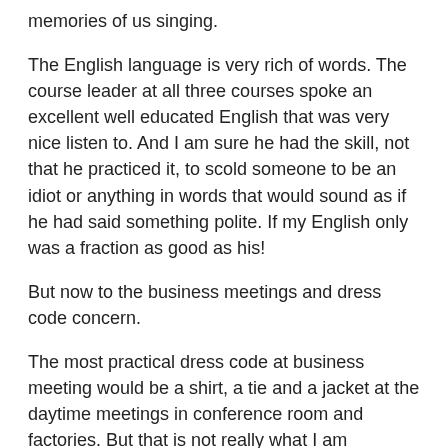memories of us singing.
The English language is very rich of words. The course leader at all three courses spoke an excellent well educated English that was very nice listen to. And I am sure he had the skill, not that he practiced it, to scold someone to be an idiot or anything in words that would sound as if he had said something polite. If my English only was a fraction as good as his!
But now to the business meetings and dress code concern.
The most practical dress code at business meeting would be a shirt, a tie and a jacket at the daytime meetings in conference room and factories. But that is not really what I am comfortable to wear. So most of the times I instead wore a proper shirt, proper trousers and eventually a nice sweater. So I was dressed properly. At business trips, you have to remember you represent your company. The